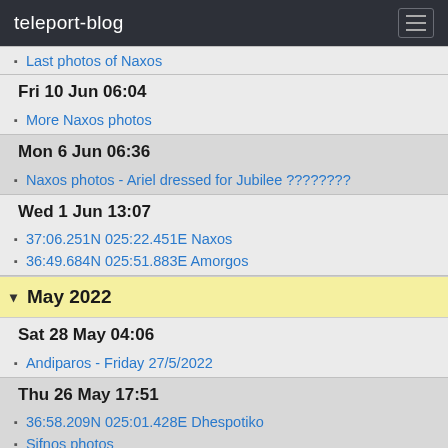teleport-blog
Last photos of Naxos
Fri 10 Jun 06:04
More Naxos photos
Mon 6 Jun 06:36
Naxos photos - Ariel dressed for Jubilee ????????
Wed 1 Jun 13:07
37:06.251N 025:22.451E Naxos
36:49.684N 025:51.883E Amorgos
May 2022
Sat 28 May 04:06
Andiparos - Friday 27/5/2022
Thu 26 May 17:51
36:58.209N 025:01.428E Dhespotiko
Sifnos photos
Photos from Serifos
Wed 25 May 13:44